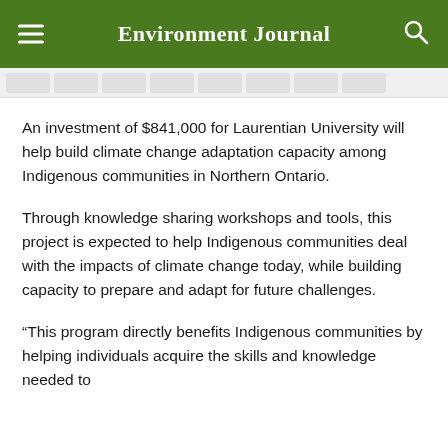Environment Journal
An investment of $841,000 for Laurentian University will help build climate change adaptation capacity among Indigenous communities in Northern Ontario.
Through knowledge sharing workshops and tools, this project is expected to help Indigenous communities deal with the impacts of climate change today, while building capacity to prepare and adapt for future challenges.
“This program directly benefits Indigenous communities by helping individuals acquire the skills and knowledge needed to